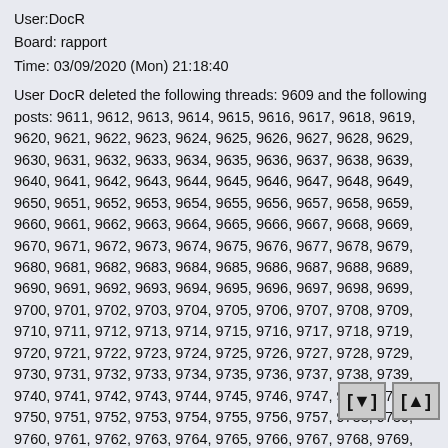User:DocR
Board: rapport
Time: 03/09/2020 (Mon) 21:18:40
User DocR deleted the following threads: 9609 and the following posts: 9611, 9612, 9613, 9614, 9615, 9616, 9617, 9618, 9619, 9620, 9621, 9622, 9623, 9624, 9625, 9626, 9627, 9628, 9629, 9630, 9631, 9632, 9633, 9634, 9635, 9636, 9637, 9638, 9639, 9640, 9641, 9642, 9643, 9644, 9645, 9646, 9647, 9648, 9649, 9650, 9651, 9652, 9653, 9654, 9655, 9656, 9657, 9658, 9659, 9660, 9661, 9662, 9663, 9664, 9665, 9666, 9667, 9668, 9669, 9670, 9671, 9672, 9673, 9674, 9675, 9676, 9677, 9678, 9679, 9680, 9681, 9682, 9683, 9684, 9685, 9686, 9687, 9688, 9689, 9690, 9691, 9692, 9693, 9694, 9695, 9696, 9697, 9698, 9699, 9700, 9701, 9702, 9703, 9704, 9705, 9706, 9707, 9708, 9709, 9710, 9711, 9712, 9713, 9714, 9715, 9716, 9717, 9718, 9719, 9720, 9721, 9722, 9723, 9724, 9725, 9726, 9727, 9728, 9729, 9730, 9731, 9732, 9733, 9734, 9735, 9736, 9737, 9738, 9739, 9740, 9741, 9742, 9743, 9744, 9745, 9746, 9747, 9748, 9749, 9750, 9751, 9752, 9753, 9754, 9755, 9756, 9757, 9758, 9759, 9760, 9761, 9762, 9763, 9764, 9765, 9766, 9767, 9768, 9769, 9770, 9771, 9772, 9773, 9774, 9775, 9776, 9777, 9778, 9779, 9780, 9781, 9782, 9783, 9784, 9785, 9786, 9787, 9788, 9789, 9790, 9791, 9792, 9793, 9794, 9795, 9796, 9797, 9798, 9799, 9800, 9801, 9802, 9803, 9804, 9805, 9806, 9807, 9808, 9809, 9810, 9811, 9812, 9813, 9814, 9815, 9816, 9817, 9818, 9819, 9820, 9821, 9822, 9823, 9824, 9825, 9826, 9827, 9828, 9829, 9830, 9831, 9832, 9833, 9834, 9835, 9836, 9837, 9838, 9839, 9840, 9841, 9842, 9843, 9844, 9845, 9846, 9847, 9848, 9849, 9850, 9851, 9852, 9853, 9854, 9855, 9856, 9857, 9858, 9859, 9860, 9861, 9862, 9863, 9864, 9865, 9866, 9867...